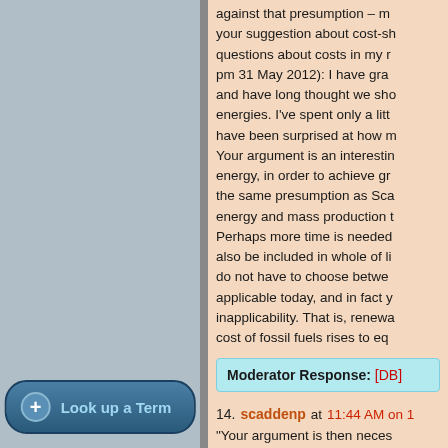against that presumption – m your suggestion about cost-sh questions about costs in my r pm 31 May 2012): I have gra and have long thought we sho energies. I've spent only a litt have been surprised at how m Your argument is an interestin energy, in order to achieve gr the same presumption as Sca energy and mass production t Perhaps more time is needed also be included in whole of li do not have to choose betwe applicable today, and in fact y inapplicability. That is, renewa cost of fossil fuels rises to eq
Moderator Response: [DB]
14. scaddenp at 11:44 AM on 1 "Your argument is then neces largely responsible for curren supposed to the misinformatio natural factors are at work as propose otherwise requires s